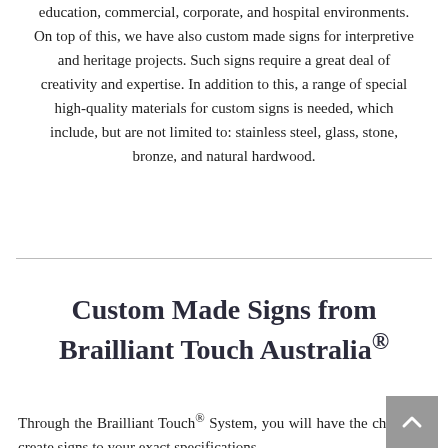education, commercial, corporate, and hospital environments. On top of this, we have also custom made signs for interpretive and heritage projects. Such signs require a great deal of creativity and expertise. In addition to this, a range of special high-quality materials for custom signs is needed, which include, but are not limited to: stainless steel, glass, stone, bronze, and natural hardwood.
Custom Made Signs from Brailliant Touch Australia®
Through the Brailliant Touch® System, you will have the chance to create signs to your exact specifications,